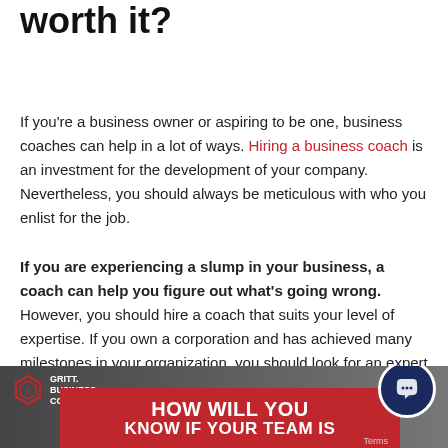worth it?
If you're a business owner or aspiring to be one, business coaches can help in a lot of ways. Hiring a business coach is an investment for the development of your company. Nevertheless, you should always be meticulous with who you enlist for the job.
If you are experiencing a slump in your business, a coach can help you figure out what's going wrong. However, you should hire a coach that suits your level of expertise. If you own a corporation and has achieved many milestones in your organization, you should look for an expert and not an entry-level coach.
[Figure (photo): Gritt Business Coaching banner image with red overlay text reading HOW WILL YOU KNOW IF YOUR TEAM IS, with logo in top left corner and chat bubble widget in bottom right]